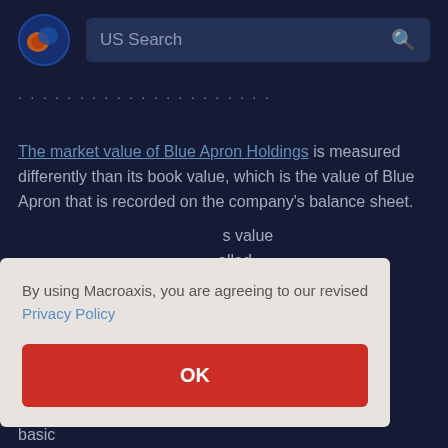[Figure (logo): Macroaxis logo — circular globe icon with orange and blue design]
US Search
The market value of Blue Apron Holdings is measured differently than its book value, which is the value of Blue Apron that is recorded on the company's balance sheet. ... value ... called value. ... value ... can be ... Blue Apron's underlying business (such as a pandemic or basic
By using Macroaxis, you are agreeing to our revised Privacy Policy
OK